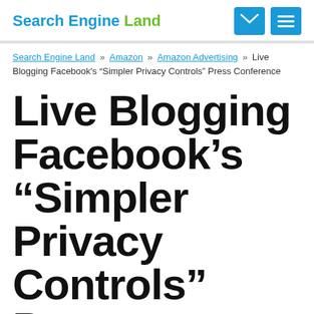Search Engine Land
Search Engine Land » Amazon » Amazon Advertising » Live Blogging Facebook's “Simpler Privacy Controls” Press Conference
Live Blogging Facebook’s “Simpler Privacy Controls” Press Conference
Facebook is holding a special press conference today and it will b…